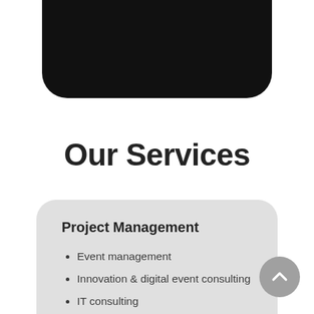[Figure (screenshot): Partial black rounded rectangle device UI element with an orange 'Visit' button in the top-right area]
Our Services
Project Management
Event management
Innovation & digital event consulting
IT consulting
Reporting